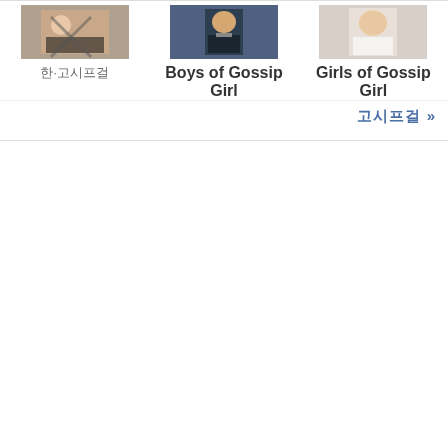[Figure (photo): Thumbnail image for Korean category (person in striped outfit)]
한·고시프걸
[Figure (photo): Thumbnail image for Boys of Gossip Girl (person in suit)]
Boys of Gossip Girl
[Figure (photo): Thumbnail image for Girls of Gossip Girl (person in white)]
Girls of Gossip Girl
고시프걸 >>